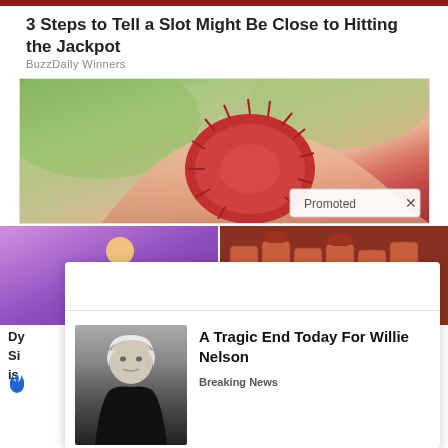3 Steps to Tell a Slot Might Be Close to Hitting the Jackpot
BuzzDaily Winners
[Figure (photo): Hand holding a red rambutan fruit against a green blurred background. A 'Promoted X' badge appears in the bottom right corner of the image.]
[Figure (illustration): Cartoon illustration of a female figure, partially visible, on purple background]
[Figure (photo): Multiple brown medicine/supplement bottles arranged together]
Dy
Si
is
[Figure (photo): Black and white photo of an elderly man with white hair in a dark outfit, appears to be Willie Nelson]
A Tragic End Today For Willie Nelson
Breaking News